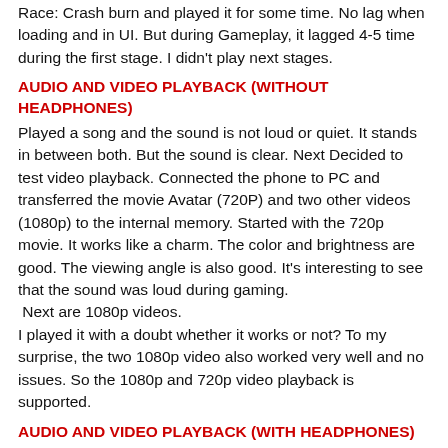Race: Crash burn  and played it for some time. No lag when loading and in UI. But during Gameplay, it lagged 4-5 time during the first stage.  I didn't play next stages.
AUDIO AND VIDEO PLAYBACK (WITHOUT HEADPHONES)
Played a song and the sound is not loud or quiet. It stands in between both. But the sound is clear. Next Decided to test video playback. Connected the phone to PC and transferred the movie Avatar (720P) and two other videos (1080p) to the internal memory. Started with the 720p movie. It works like a charm. The color and brightness are good. The viewing angle is also good. It's interesting to see that the sound was loud during gaming.
 Next are 1080p videos.
I played it with a doubt whether it works or not? To my surprise, the two 1080p video also worked very well and no issues.  So the 1080p and 720p video playback is supported.
AUDIO AND VIDEO PLAYBACK (WITH HEADPHONES)
The headphone is average. But it's ok as I didn't expect it to be stellar.
CAMERA
As a previous owner of two Cybershot phones, I don't care...